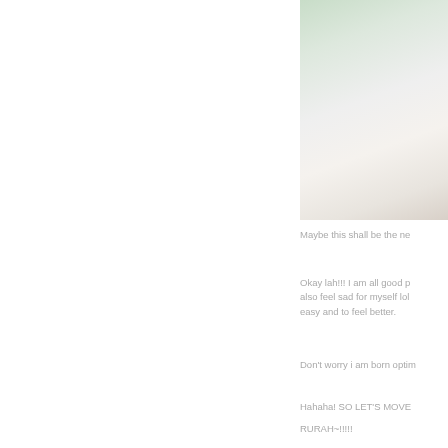[Figure (photo): A close-up photo of what appears to be a pale surface or skin, with a blurred background containing greenish tones on the left edge and right edge.]
Maybe this shall be the ne
Okay lah!!! I am all good ph also feel sad for myself lol easy and to feel better.
Don't worry i am born optim
Hahaha! SO LET'S MOVE
RURAH~!!!!!